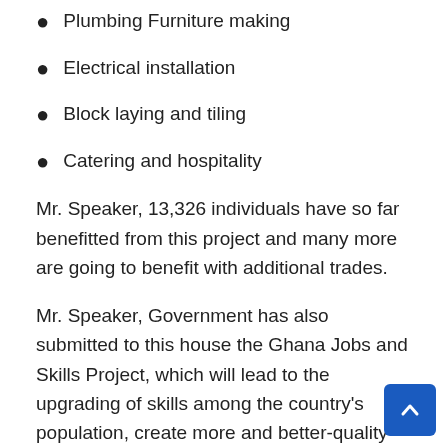Plumbing Furniture making
Electrical installation
Block laying and tiling
Catering and hospitality
Mr. Speaker, 13,326 individuals have so far benefitted from this project and many more are going to benefit with additional trades.
Mr. Speaker, Government has also submitted to this house the Ghana Jobs and Skills Project, which will lead to the upgrading of skills among the country's population, create more and better-quality jobs and improve on job outcomes for the youth. It connects success in